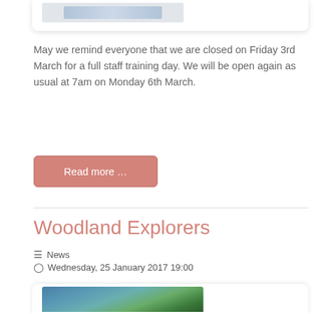[Figure (photo): Top portion of a card with a partial logo/image visible at the top of the page]
May we remind everyone that we are closed on Friday 3rd March for a full staff training day. We will be open again as usual at 7am on Monday 6th March.
Read more ...
Woodland Explorers
≡ News
⊙ Wednesday, 25 January 2017 19:00
[Figure (photo): Photo of children in blue outdoor clothing exploring in nature/woodland setting]